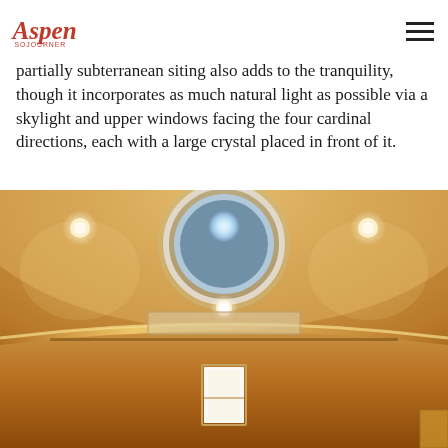Aspen Sojourner (logo) — navigation menu
angled outward help channel noise toward sound-absorbing acoustic panels. The building's partially subterranean siting also adds to the tranquility, though it incorporates as much natural light as possible via a skylight and upper windows facing the four cardinal directions, each with a large crystal placed in front of it.
[Figure (photo): Interior view looking up at a circular skylight in a warm golden-amber ceiling. The ceiling curves gently with LED cove lighting along the edges, and recessed spotlights are visible. Below the curved ceiling is a small rectangular window glowing with natural light, set into an amber-toned plastered wall.]